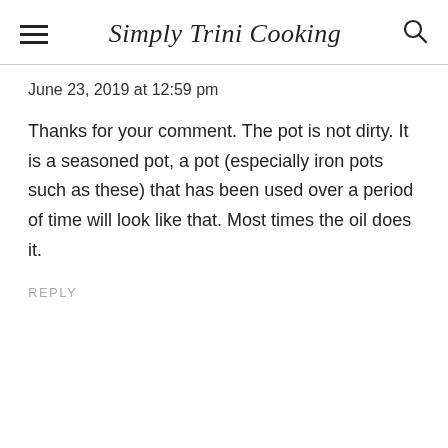Simply Trini Cooking
June 23, 2019 at 12:59 pm
Thanks for your comment. The pot is not dirty. It is a seasoned pot, a pot (especially iron pots such as these) that has been used over a period of time will look like that. Most times the oil does it.
REPLY